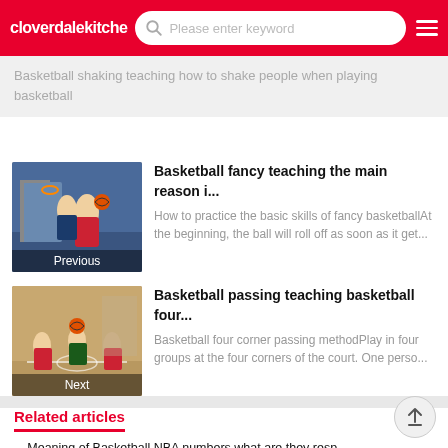cloverdalekitche... | Please enter keyword
Basketball shaking teaching how to shake people when playing basketball
[Figure (photo): Basketball player photo thumbnail labeled Previous]
Basketball fancy teaching the main reason i...
How to practice the basic skills of fancy basketballAt the beginning, the ball will roll off as soon as it get...
[Figure (photo): Basketball passing drill photo thumbnail labeled Next]
Basketball passing teaching basketball four...
Basketball four corner passing methodPlay in four groups at the four corners of the court. One perso...
Related articles
Meaning of Basketball NBA numbers what are they resp...
Chinese basketball team teaching match